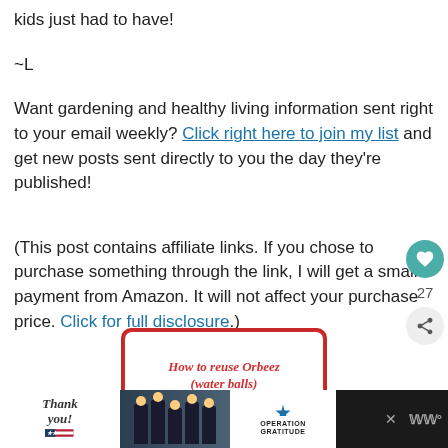kids just had to have!
~L
Want gardening and healthy living information sent right to your email weekly? Click right here to join my list and get new posts sent directly to you the day they're published!
(This post contains affiliate links. If you chose to purchase something through the link, I will get a small payment from Amazon. It will not affect your purchase price. Click for full disclosure.)
[Figure (other): Promotional card image showing 'How to reuse Orbeez (water balls)' text on a red and white card]
[Figure (other): Advertisement banner: Thank you with Operation Gratitude logo and photo of firefighters/service members]